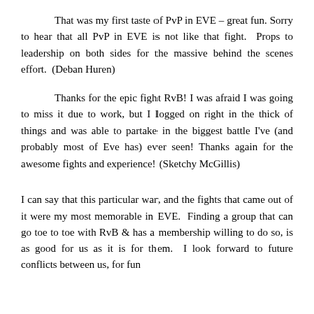That was my first taste of PvP in EVE – great fun. Sorry to hear that all PvP in EVE is not like that fight.  Props to leadership on both sides for the massive behind the scenes effort.  (Deban Huren)
Thanks for the epic fight RvB! I was afraid I was going to miss it due to work, but I logged on right in the thick of things and was able to partake in the biggest battle I've (and probably most of Eve has) ever seen! Thanks again for the awesome fights and experience! (Sketchy McGillis)
I can say that this particular war, and the fights that came out of it were my most memorable in EVE.  Finding a group that can go toe to toe with RvB & has a membership willing to do so, is as good for us as it is for them.  I look forward to future conflicts between us, for fun